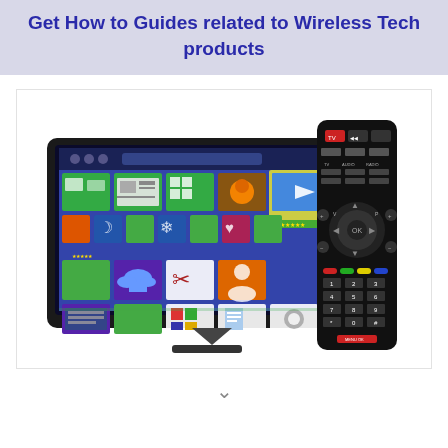Get How to Guides related to Wireless Tech products
[Figure (illustration): Illustration of a smart TV with colorful app icons on screen, and a TV remote control beside it]